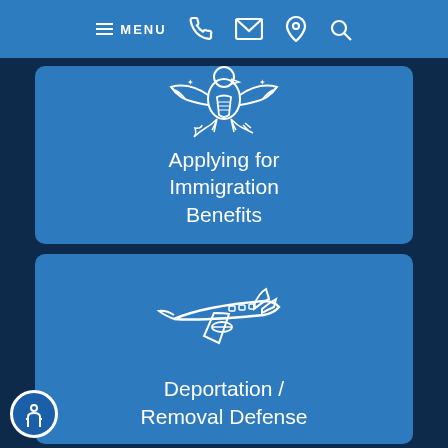MENU
[Figure (illustration): White outline eagle/US federal seal icon on blue background card]
Applying for Immigration Benefits
[Figure (illustration): White outline airplane icon on blue background card]
Deportation / Removal Defense